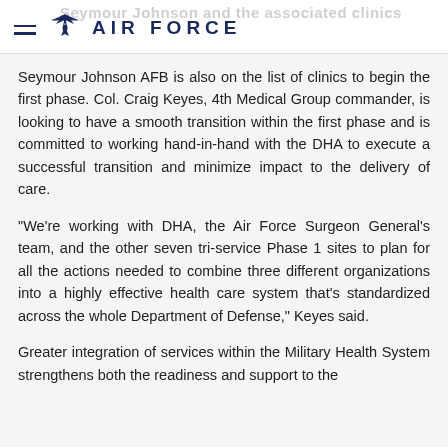AIR FORCE
Seymour Johnson AFB is also on the list of clinics to begin the first phase. Col. Craig Keyes, 4th Medical Group commander, is looking to have a smooth transition within the first phase and is committed to working hand-in-hand with the DHA to execute a successful transition and minimize impact to the delivery of care.
“We’re working with DHA, the Air Force Surgeon General’s team, and the other seven tri-service Phase 1 sites to plan for all the actions needed to combine three different organizations into a highly effective health care system that’s standardized across the whole Department of Defense,” Keyes said.
Greater integration of services within the Military Health System strengthens both the readiness and support to the